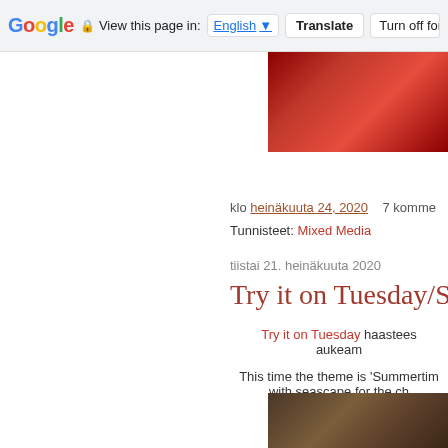Google  View this page in: English [▼]  Translate  Turn off for: F
[Figure (photo): Red fabric or curtain image in top right corner]
klo heinäkuuta 24, 2020   7 komme
Tunnisteet: Mixed Media
tiistai 21. heinäkuuta 2020
Try it on Tuesday/Su
Try it on Tuesday haastees aukeam
This time the theme is 'Summertim with seascape for the ch
[Figure (photo): Brown/dark image at bottom right corner]